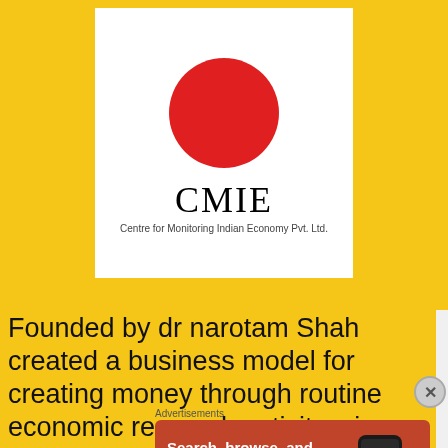[Figure (logo): CMIE logo — red circle above 'CMIE' in serif text and subtitle 'Centre for Monitoring Indian Economy Pvt. Ltd.' on white background with yellow side panels]
Founded by dr narotam Shah created a business model for creating money through routine economic research activity. give the respected
Advertisements
[Figure (screenshot): DuckDuckGo advertisement banner: 'Search, browse, and email with more privacy. All in One Free App' with DuckDuckGo logo and phone image on orange/red background]